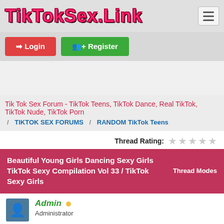[Figure (logo): TikTokSex.Link logo in pink graffiti-style font with dark outline]
Login
Register
Tik Tok Sex Forum - TikTok Teens, TikTok Dance, Real TikTok, TikTok Nude, TikTok Porn
TIKTOK SEX FORUMS / RANDOM TikTok Teens
Thread Rating:
Beautiful Young Girls Dancing Sexy Girls TikTok Sexy Compilation Vol 33 / TikTok Sexy Girls
Thread Modes
Admin
Administrator
12-11-2021, 05:28 PM
#1